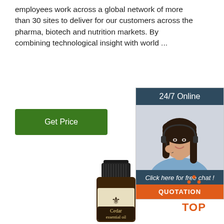employees work across a global network of more than 30 sites to deliver for our customers across the pharma, biotech and nutrition markets. By combining technological insight with world ...
[Figure (other): Green 'Get Price' button]
[Figure (other): 24/7 Online chat widget with woman wearing headset, 'Click here for free chat!' text, and orange QUOTATION button]
[Figure (photo): Cedar essential oil dark amber bottle with label showing fleur-de-lis and text 'Cedar essential oil']
[Figure (other): Orange 'TOP' button with dots forming triangle/arrow above the text]